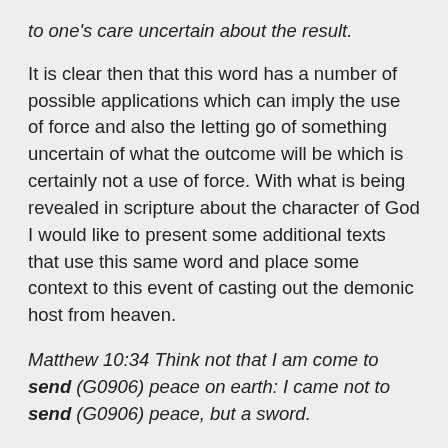to one's care uncertain about the result.
It is clear then that this word has a number of possible applications which can imply the use of force and also the letting go of something uncertain of what the outcome will be which is certainly not a use of force. With what is being revealed in scripture about the character of God I would like to present some additional texts that use this same word and place some context to this event of casting out the demonic host from heaven.
Matthew 10:34 Think not that I am come to send (G0906) peace on earth: I came not to send (G0906) peace, but a sword.
Christ's message was certainly a message of peace but its effect upon earth was the contrary because the spirit that rules the earth is the sprit of Satan which is at war with the Gospel of peace. Hence, Christ's revelation of peace was seen through perverted understanding